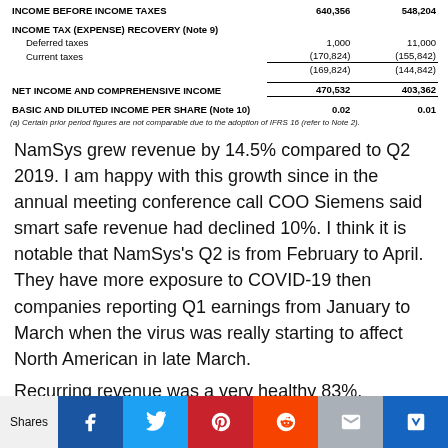|  | Col1 | Col2 |
| --- | --- | --- |
| INCOME BEFORE INCOME TAXES | 640,356 | 548,204 |
| INCOME TAX (EXPENSE) RECOVERY (Note 9) |  |  |
| Deferred taxes | 1,000 | 11,000 |
| Current taxes | (170,824) | (155,842) |
|  | (169,824) | (144,842) |
| NET INCOME AND COMPREHENSIVE INCOME | 470,532 | 403,362 |
| BASIC AND DILUTED INCOME PER SHARE (Note 10) | 0.02 | 0.01 |
(a) Certain prior period figures are not comparable due to the adoption of IFRS 16 (refer to Note 2).
NamSys grew revenue by 14.5% compared to Q2 2019. I am happy with this growth since in the annual meeting conference call COO Siemens said smart safe revenue had declined 10%. I think it is notable that NamSys’s Q2 is from February to April. They have more exposure to COVID-19 then companies reporting Q1 earnings from January to March when the virus was really starting to affect North American in late March.
Recurring revenue was a very healthy 83%.
[Figure (other): Social media sharing bar with Shares label and icons for Facebook, Twitter, Pinterest, Reddit, email, and bookmark]